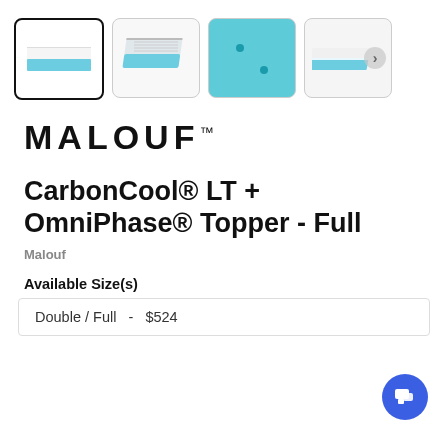[Figure (screenshot): Four product thumbnail images of a mattress topper in a horizontal row. First thumbnail is selected (bold border). Shows a thin topper with teal/blue-green bottom layer and white top. Second thumbnail shows cross-section of layers. Third thumbnail shows teal topper top-down view with two small anchors. Fourth thumbnail shows side angle with a right-arrow navigation button.]
[Figure (logo): MALOUF brand logo in bold black uppercase letters with trademark symbol]
CarbonCool® LT + OmniPhase® Topper - Full
Malouf
Available Size(s)
| Double / Full  -  $524 |